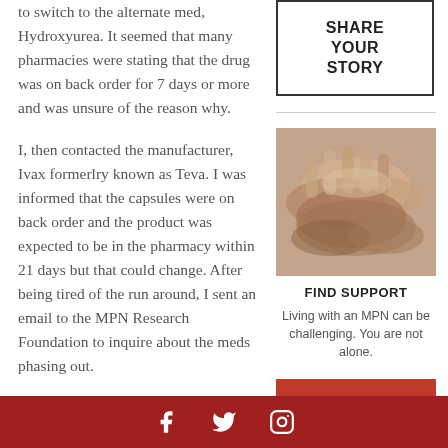to switch to the alternate med, Hydroxyurea. It seemed that many pharmacies were stating that the drug was on back order for 7 days or more and was unsure of the reason why.
I, then contacted the manufacturer, Ivax formerlry known as Teva. I was informed that the capsules were on back order and the product was expected to be in the pharmacy within 21 days but that could change. After being tired of the run around, I sent an email to the MPN Research Foundation to inquire about the meds phasing out.
They contacted Michelle...
[Figure (other): SHARE YOUR STORY button box with border]
[Figure (photo): Photo of clasped hands, multiple people holding hands together]
FIND SUPPORT
Living with an MPN can be challenging. You are not alone.
[Figure (other): JOIN A button in red/orange]
Social media icons: Facebook, Twitter, Instagram